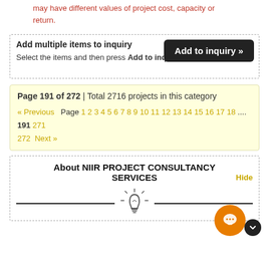may have different values of project cost, capacity or return.
Add multiple items to inquiry
Select the items and then press Add to inquiry button
Add to inquiry »
Page 191 of 272 | Total 2716 projects in this category
« Previous Page 1 2 3 4 5 6 7 8 9 10 11 12 13 14 15 16 17 18 .... 191 271 272 Next »
About NIIR PROJECT CONSULTANCY SERVICES
[Figure (illustration): Light bulb icon centered between two horizontal lines, representing ideas/consultancy]